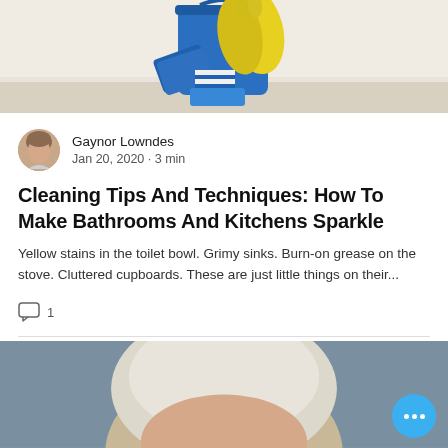[Figure (photo): Photo of blue cleaning bucket with yellow rubber gloves, blue sponge, and cleaning supplies on a light floor against a white wall]
Gaynor Lowndes
Jan 20, 2020 · 3 min
Cleaning Tips And Techniques: How To Make Bathrooms And Kitchens Sparkle
Yellow stains in the toilet bowl. Grimy sinks. Burn-on grease on the stove. Cluttered cupboards. These are just little things on their...
1
[Figure (photo): Partial photo of an elderly woman with white/blonde hair against a grey background, with a blue circular more-options button (three white dots) in the lower right]